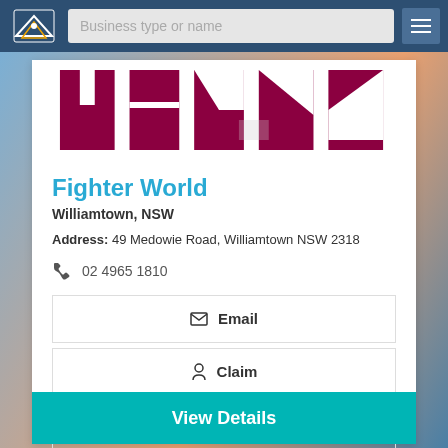Business type or name
[Figure (photo): Cropped photo showing maroon/crimson colored sports equipment or uniforms on a white background, partially visible at top of card]
Fighter World
Williamtown, NSW
Address: 49 Medowie Road, Williamtown NSW 2318
02 4965 1810
Email
Claim
Call Now
View Details